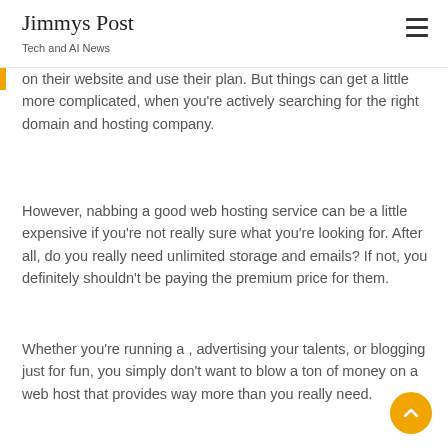Jimmys Post
Tech and AI News
on their website and use their plan. But things can get a little more complicated, when you're actively searching for the right domain and hosting company.
However, nabbing a good web hosting service can be a little expensive if you're not really sure what you're looking for. After all, do you really need unlimited storage and emails? If not, you definitely shouldn't be paying the premium price for them.
Whether you're running a , advertising your talents, or blogging just for fun, you simply don't want to blow a ton of money on a web host that provides way more than you really need.
But at the same time, some of the free options